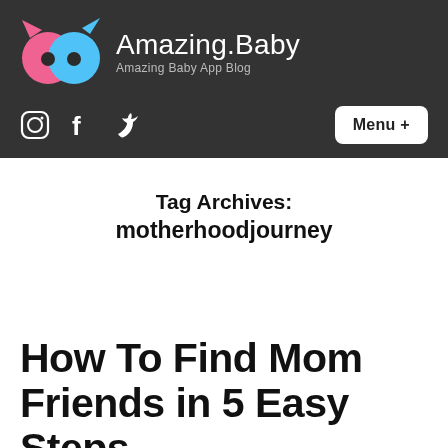Amazing.Baby — Amazing Baby App Blog
Tag Archives: motherhoodjourney
How To Find Mom Friends in 5 Easy Steps